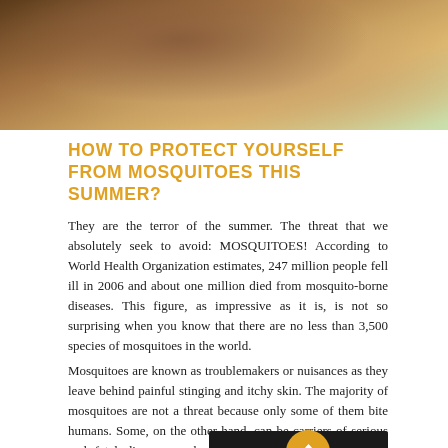[Figure (photo): Close-up photo of a person scratching their arm, with greenery/outdoor background visible.]
HOW TO PROTECT YOURSELF FROM MOSQUITOES THIS SUMMER?
They are the terror of the summer. The threat that we absolutely seek to avoid: MOSQUITOES! According to World Health Organization estimates, 247 million people fell ill in 2006 and about one million died from mosquito-borne diseases. This figure, as impressive as it is, is not so surprising when you know that there are no less than 3,500 species of mosquitoes in the world.
Mosquitoes are known as troublemakers or nuisances as they leave behind painful stinging and itchy skin. The majority of mosquitoes are not a threat because only some of them bite humans. Some, on the other hand, can be carriers of serious and fatal diseases such as: malaria, dengue fever, zika, chikungunya and the like, will keep them away.
As a result, there are many means put in p... them away.